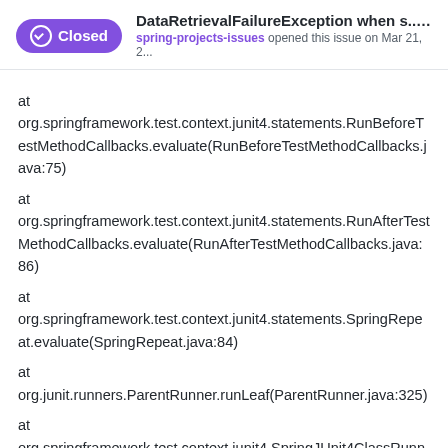Closed | DataRetrievalFailureException when s... #568 | spring-projects-issues opened this issue on Mar 21, 2...
at org.springframework.test.context.junit4.statements.RunBeforeTestMethodCallbacks.evaluate(RunBeforeTestMethodCallbacks.java:75)
at org.springframework.test.context.junit4.statements.RunAfterTestMethodCallbacks.evaluate(RunAfterTestMethodCallbacks.java:86)
at org.springframework.test.context.junit4.statements.SpringRepeat.evaluate(SpringRepeat.java:84)
at org.junit.runners.ParentRunner.runLeaf(ParentRunner.java:325)
at org.springframework.test.context.junit4.SpringJUnit4ClassRunner.runChild(SpringJUnit4ClassRunner.java:251)
at org.springframework.test.context.junit4.SpringJUnit4ClassRu